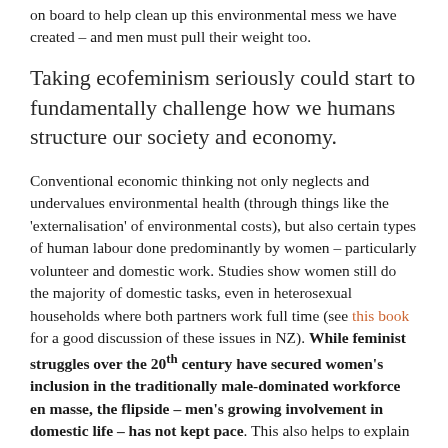on board to help clean up this environmental mess we have created – and men must pull their weight too.
Taking ecofeminism seriously could start to fundamentally challenge how we humans structure our society and economy.
Conventional economic thinking not only neglects and undervalues environmental health (through things like the 'externalisation' of environmental costs), but also certain types of human labour done predominantly by women – particularly volunteer and domestic work. Studies show women still do the majority of domestic tasks, even in heterosexual households where both partners work full time (see this book for a good discussion of these issues in NZ). While feminist struggles over the 20th century have secured women's inclusion in the traditionally male-dominated workforce en masse, the flipside – men's growing involvement in domestic life – has not kept pace. This also helps to explain female over-representation in zero waste and other environmental issues – why more often than not, women are the ones driving these local environmental campaigns at a local level.